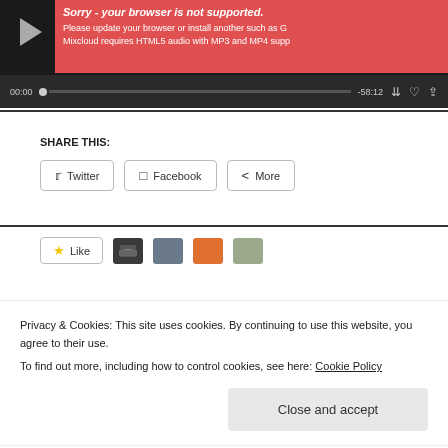[Figure (screenshot): Audio player widget with dark background, play button, error banner in red saying 'Sorry - your browser is not supported.', browser update message, and progress bar showing 00:00 / -58:12 with media controls]
SHARE THIS:
[Figure (screenshot): Share buttons row: Twitter, Facebook, More]
[Figure (screenshot): Like button with star icon and user avatars]
Privacy & Cookies: This site uses cookies. By continuing to use this website, you agree to their use.
To find out more, including how to control cookies, see here: Cookie Policy
Close and accept
Follow